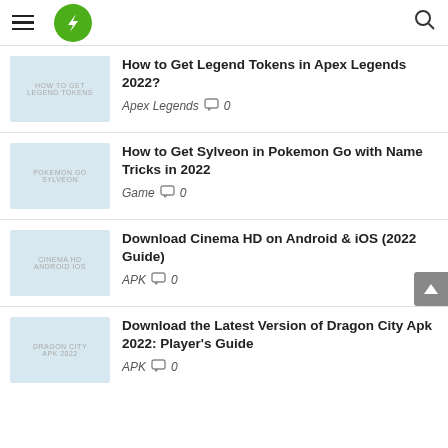Navigation header with hamburger menu, lightning bolt logo, and search icon
How to Get Legend Tokens in Apex Legends 2022? — Apex Legends  0
How to Get Sylveon in Pokemon Go with Name Tricks in 2022 — Game  0
Download Cinema HD on Android & iOS (2022 Guide) — APK  0
Download the Latest Version of Dragon City Apk 2022: Player's Guide — APK  0